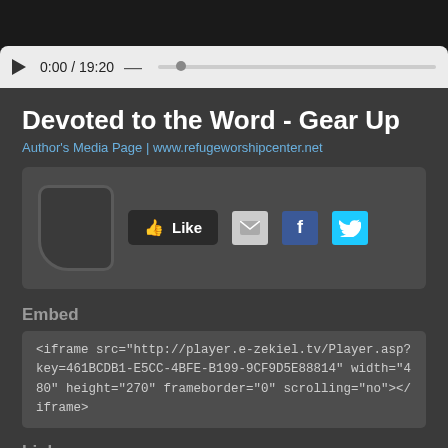[Figure (screenshot): Video player bar showing play button, time 0:00 / 19:20, and progress bar on light gray background]
Devoted to the Word - Gear Up
Author's Media Page | www.refugeworshipcenter.net
[Figure (screenshot): Social sharing panel with Like button, email icon, Facebook icon, Twitter icon]
Embed
<iframe src="http://player.e-zekiel.tv/Player.asp?key=461BCDB1-E5CC-4BFE-B199-9CF9D5E88814" width="480" height="270" frameborder="0" scrolling="no"></iframe>
Link
http://www.e-zekiel.tv/System/Media/Play.asp?id=30216&Key=461BCDB1-